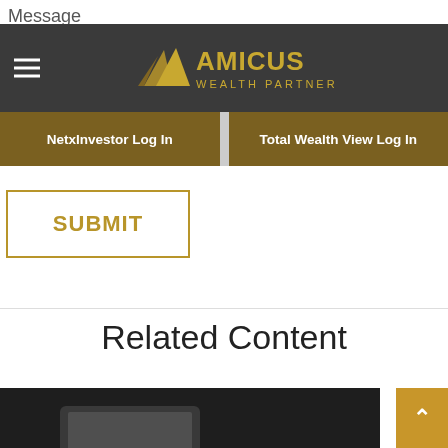Message
[Figure (logo): Amicus Wealth Partners logo — gold triangle/arrow mark with 'AMICUS WEALTH PARTNERS' in gold and white text on dark grey background with hamburger menu icon on left]
NetxInvestor Log In
Total Wealth View Log In
SUBMIT
Related Content
[Figure (photo): Dark background with partial view of a tablet device in lower portion of image]